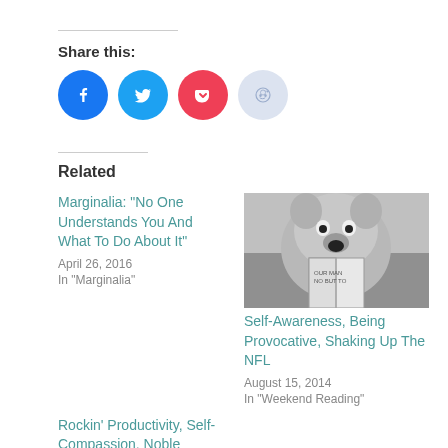Share this:
[Figure (other): Social share buttons: Facebook (blue circle), Twitter (blue circle), Pocket (red circle), Reddit (light blue circle)]
Related
Marginalia: "No One Understands You And What To Do About It"
April 26, 2016
In "Marginalia"
[Figure (photo): Black and white photo of a stuffed animal dog reading a book]
Self-Awareness, Being Provocative, Shaking Up The NFL
August 15, 2014
In "Weekend Reading"
Rockin' Productivity, Self-Compassion, Noble Pursuits,